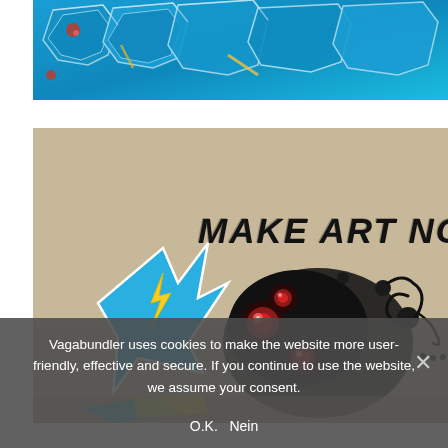[Figure (photo): Close-up photo of blue graffiti art with colorful wildstyle letters in blue, yellow on a beige/grey background, with red dot accents.]
[Figure (photo): Graffiti mural on a concrete wall featuring the text 'MAKE ART NOT WAR' in black handwritten graffiti style lettering, with a blue arrow shape with yellow lightning bolt, a large black blob shape with glowing red circular spots, and a cursive signature.]
Vagabundler uses cookies to make the website more user-friendly, effective and secure. If you continue to use the website, we assume your consent.
O.K.   Nein